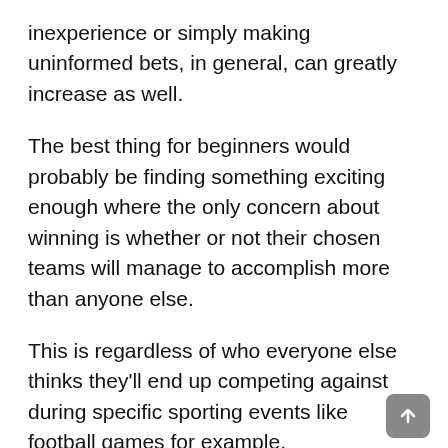inexperience or simply making uninformed bets, in general, can greatly increase as well.
The best thing for beginners would probably be finding something exciting enough where the only concern about winning is whether or not their chosen teams will manage to accomplish more than anyone else.
This is regardless of who everyone else thinks they'll end up competing against during specific sporting events like football games for example.
Understand the Sports Betting Profit Model
People who are new to online sports betting might not